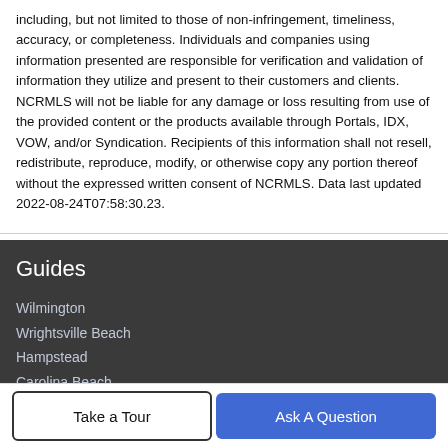including, but not limited to those of non-infringement, timeliness, accuracy, or completeness. Individuals and companies using information presented are responsible for verification and validation of information they utilize and present to their customers and clients. NCRMLS will not be liable for any damage or loss resulting from use of the provided content or the products available through Portals, IDX, VOW, and/or Syndication. Recipients of this information shall not resell, redistribute, reproduce, modify, or otherwise copy any portion thereof without the expressed written consent of NCRMLS. Data last updated 2022-08-24T07:58:30.23.
Guides
Wilmington
Wrightsville Beach
Hampstead
Carolina Beach
Kure Beach
Take a Tour | Ask A Question